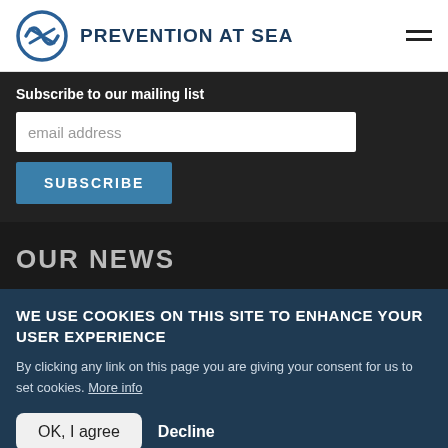PREVENTION AT SEA
Subscribe to our mailing list
email address
SUBSCRIBE
OUR NEWS
WE USE COOKIES ON THIS SITE TO ENHANCE YOUR USER EXPERIENCE
By clicking any link on this page you are giving your consent for us to set cookies. More info
OK, I agree
Decline